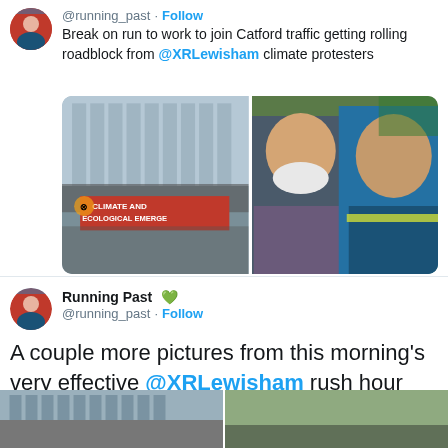@running_past · Follow
Break on run to work to join Catford traffic getting rolling roadblock from @XRLewisham climate protesters
[Figure (photo): Two photos side by side: left shows street protest with red banner reading 'CLIMATE AND ECOLOGICAL EMERGENCY', right shows two men taking a selfie outdoors, one wearing a face mask, one in blue running vest.]
Running Past 💚
@running_past · Follow
A couple more pictures from this morning's very effective @XRLewisham rush hour road blocks.
[Figure (photo): Bottom strip showing two partial photos of street scenes.]